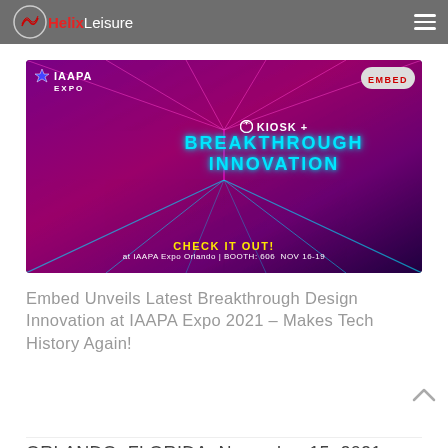Helix Leisure
[Figure (photo): IAAPA Expo banner for Embed featuring Kiosk+ Breakthrough Innovation, advertising booth 606, NOV 16-19 at IAAPA Expo Orlando. Cyan text reads BREAKTHROUGH INNOVATION with CHECK IT OUT! in yellow below.]
Embed Unveils Latest Breakthrough Design Innovation at IAAPA Expo 2021 – Makes Tech History Again!
ORLANDO, FLORIDA, November 15, 2021: